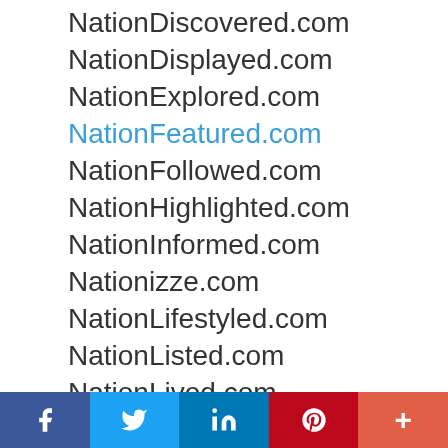NationDiscovered.com
NationDisplayed.com
NationExplored.com
NationFeatured.com
NationFollowed.com
NationHighlighted.com
NationInformed.com
Nationizze.com
NationLifestyled.com
NationListed.com
NationLived.com
NationMarketed.com
NationOrganized.com
NationPartnered.com
NationPromoted.com
NationServiced.com
NationShowcased.com